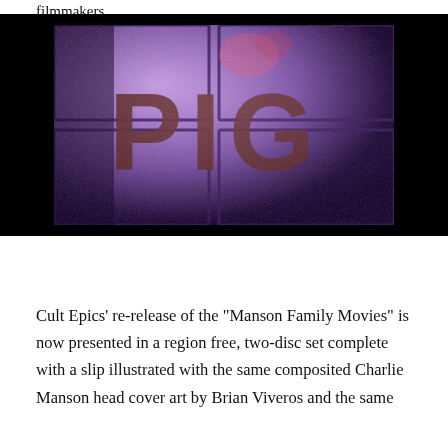filmmakers.
[Figure (photo): A purple-tinted, grainy video still showing large letters spelling 'PIG' on what appears to be a surface, with dark distressed imagery — associated with Manson Family Movies.]
Cult Epics’ re-release of the “Manson Family Movies” is now presented in a region free, two-disc set complete with a slip illustrated with the same composited Charlie Manson head cover art by Brian Viveros and the same